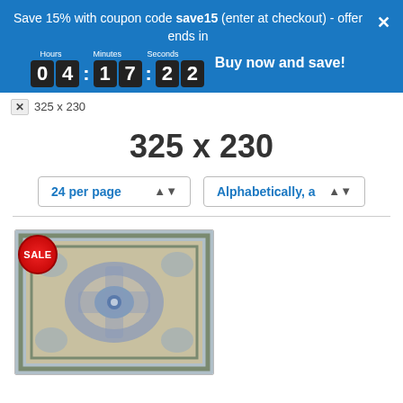Save 15% with coupon code save15 (enter at checkout) - offer ends in
[Figure (screenshot): Countdown timer showing 04:17:22 with Hours, Minutes, Seconds labels on dark digit blocks]
Buy now and save!
325 x 230
325 x 230
24 per page
Alphabetically, a
[Figure (photo): A decorative area rug with blue and beige medallion pattern, with a red SALE badge in the top-left corner]